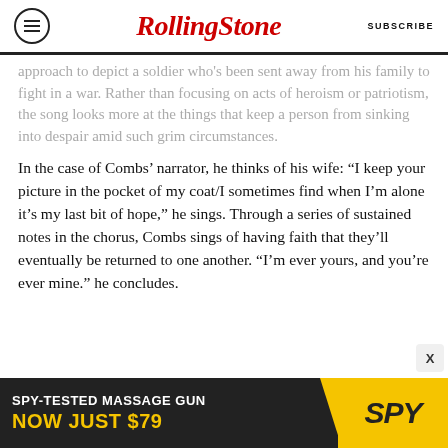RollingStone | SUBSCRIBE
approach to depict a soldier who's been sent away from his family to fight in a war. Rather than focusing on acts of heroism or patriotism, the song looks more at the things that keep a person from sinking into despair amid such grim circumstances.

In the case of Combs' narrator, he thinks of his wife: “I keep your picture in the pocket of my coat/I sometimes find when I’m alone it’s my last bit of hope,” he sings. Through a series of sustained notes in the chorus, Combs sings of having faith that they’ll eventually be returned to one another. “I’m ever yours, and you’re ever mine.” he concludes.
[Figure (infographic): Advertisement banner: SPY-TESTED MASSAGE GUN NOW JUST $79 with SPY logo in yellow on dark background]